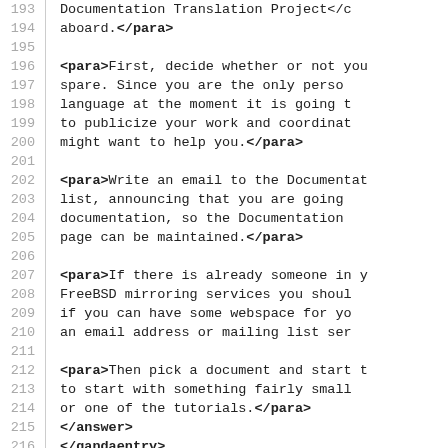Code listing showing XML/DocBook markup lines 193-222